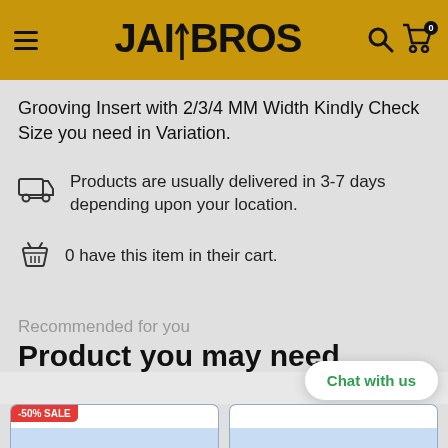JAIBROS
Grooving Insert with 2/3/4 MM Width Kindly Check Size you need in Variation.
Products are usually delivered in 3-7 days depending upon your location.
0 have this item in their cart.
Recommended for you
Product you may need
Chat with us